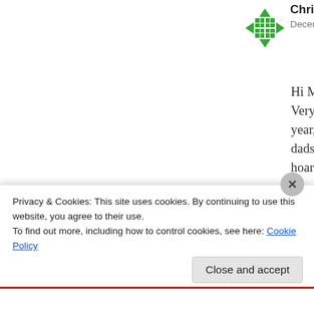[Figure (logo): Green diamond/asterisk avatar icon for user Chris Jones]
Chris Jones says:
December 15, 2020 at 1:15 pm
Hi Mark,
Very sad to report that my Dad, John year, luckily just before this awful pa dads wardrobe of Dunn`s clothes and hoarder, finding It quite difficult.
The names you quote though do give The old Gent, was there ever a greate 1974, Dunn & Co had just I believe n and metric, I recall seeing T76 Woolw 064 Woolwich when I started and cus trouser it became 92W x 76L. I do
Privacy & Cookies: This site uses cookies. By continuing to use this website, you agree to their use.
To find out more, including how to control cookies, see here: Cookie Policy
Close and accept